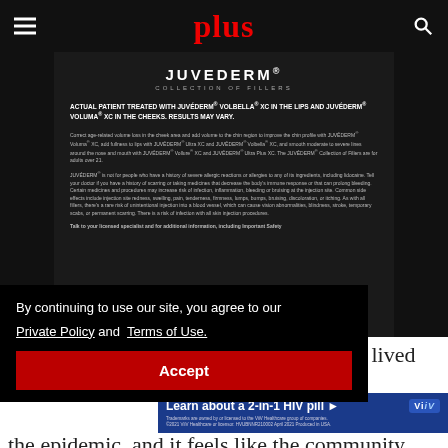plus
[Figure (illustration): Juvederm Collection of Fillers advertisement showing product information on dark background. Text includes patient disclosure, product descriptions, and safety information.]
By continuing to use our site, you agree to our Private Policy and Terms of Use.
Accept
are of on the survivors, people who have lived with HIV for 25 and 35 plus years,  by the epidemic, and it feels like the community
[Figure (infographic): ViiV Healthcare advertisement: Learn about a 2-in-1 HIV pill. Trademarks are owned by or licensed to the ViiV Healthcare group of companies. ©2021 ViiV Healthcare or licensor. HVUBNNR210002 April 2021 Produced in USA.]